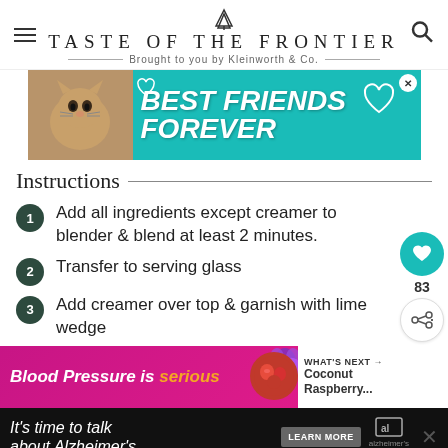TASTE OF THE FRONTIER — Brought to you by Kleinworth & Co.
[Figure (infographic): Advertisement banner: cat image with teal background, text 'BEST FRIENDS FOREVER' in white bold italic, with heart graphics and close button]
Instructions
Add all ingredients except creamer to blender & blend at least 2 minutes.
Transfer to serving glass
Add creamer over top & garnish with lime wedge
[Figure (infographic): Advertisement banner: pink/magenta background with text 'Blood Pressure is serious', purple heart graphic, berry image, and 'WHAT'S NEXT' panel showing 'Coconut Raspberry...']
[Figure (infographic): Footer advertisement: dark background with text 'It's time to talk about Alzheimer's.' with LEARN MORE button and Alzheimer's association logo]